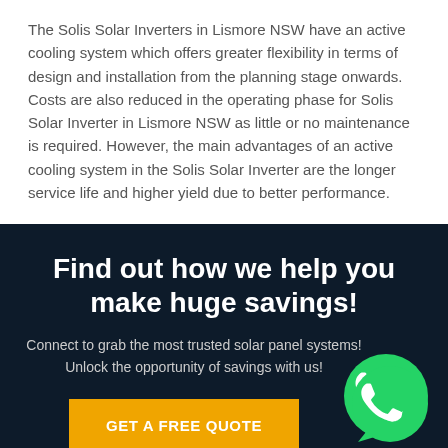The Solis Solar Inverters in Lismore NSW have an active cooling system which offers greater flexibility in terms of design and installation from the planning stage onwards. Costs are also reduced in the operating phase for Solis Solar Inverter in Lismore NSW as little or no maintenance is required. However, the main advantages of an active cooling system in the Solis Solar Inverter are the longer service life and higher yield due to better performance.
Find out how we help you make huge savings!
Connect to grab the most trusted solar panel systems! Unlock the opportunity of savings with us!
GET A FREE QUOTE
[Figure (illustration): WhatsApp green phone icon circle]